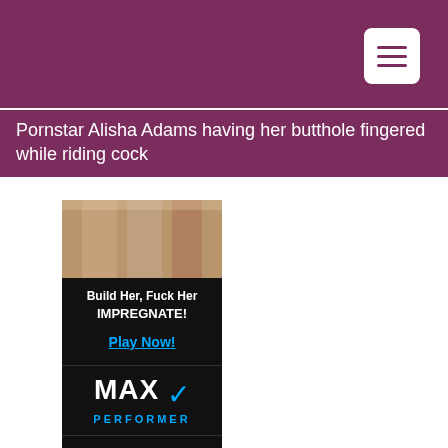Navigation menu button in top-right corner
Pornstar Alisha Adams having her butthole fingered while riding cock
[Figure (photo): Cropped photo showing legs of women]
[Figure (infographic): Game advertisement: Build Her, Fuck Her IMPREGNATE! Play Now!]
[Figure (logo): MAX PERFORMER logo with blue checkmark]
[Figure (infographic): MAX PERFORMER ad: THICKER, HARDER, MORE POWERFUL]